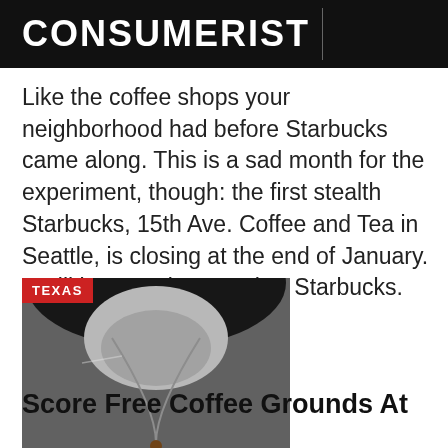CONSUMERIST
Like the coffee shops your neighborhood had before Starbucks came along. This is a sad month for the experiment, though: the first stealth Starbucks, 15th Ave. Coffee and Tea in Seattle, is closing at the end of January. It will become just another Starbucks.
[Figure (photo): Close-up photo of a coffee filter or dripper with coffee liquid, with a red 'TEXAS' badge in the top-left corner]
Score Free Coffee Grounds At